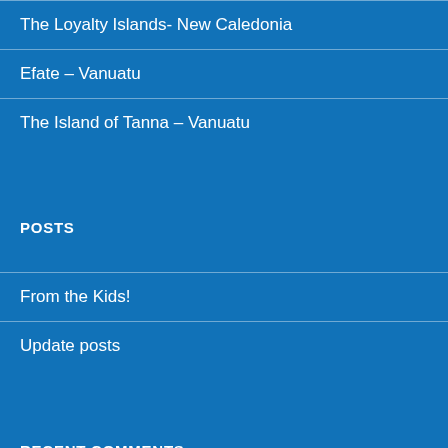The Loyalty Islands- New Caledonia
Efate – Vanuatu
The Island of Tanna – Vanuatu
POSTS
From the Kids!
Update posts
RECENT COMMENTS
stewart135 on Niue